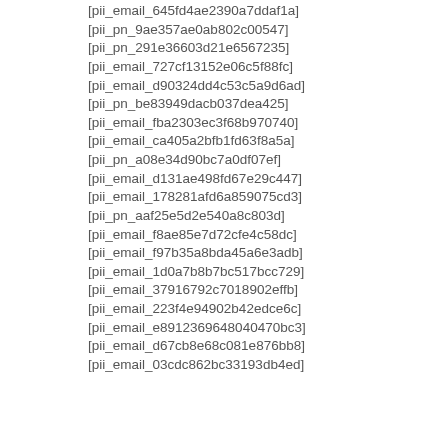[pii_email_645fd4ae2390a7ddaf1a]
[pii_pn_9ae357ae0ab802c00547]
[pii_pn_291e36603d21e6567235]
[pii_email_727cf13152e06c5f88fc]
[pii_email_d90324dd4c53c5a9d6ad]
[pii_pn_be83949dacb037dea425]
[pii_email_fba2303ec3f68b970740]
[pii_email_ca405a2bfb1fd63f8a5a]
[pii_pn_a08e34d90bc7a0df07ef]
[pii_email_d131ae498fd67e29c447]
[pii_email_178281afd6a859075cd3]
[pii_pn_aaf25e5d2e540a8c803d]
[pii_email_f8ae85e7d72cfe4c58dc]
[pii_email_f97b35a8bda45a6e3adb]
[pii_email_1d0a7b8b7bc517bcc729]
[pii_email_37916792c7018902effb]
[pii_email_223f4e94902b42edce6c]
[pii_email_e8912369648040470bc3]
[pii_email_d67cb8e68c081e876bb8]
[pii_email_03cdc862bc33193db4ed]